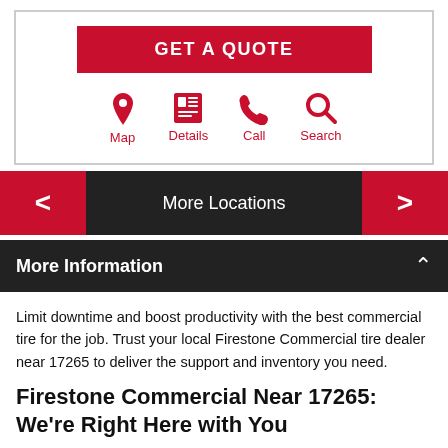GET A QUOTE
[Figure (infographic): Four red icon buttons: Map (location pin), Details (newspaper), Call (phone), Search (magnifying glass)]
More Locations
More Information
Limit downtime and boost productivity with the best commercial tire for the job. Trust your local Firestone Commercial tire dealer near 17265 to deliver the support and inventory you need.
Firestone Commercial Near 17265: We're Right Here with You
The Firestone name means quality, innovation and excellence. It